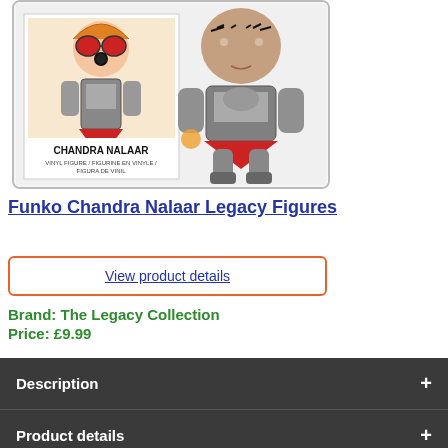[Figure (photo): Product photo of Funko Chandra Nalaar Legacy Figures showing the box packaging on the left with 'CHANDRA NALAAR' text and the vinyl figure on the right standing in armored outfit]
Funko Chandra Nalaar Legacy Figures
View product details
Brand: The Legacy Collection
Price: £9.99
Description
Product details